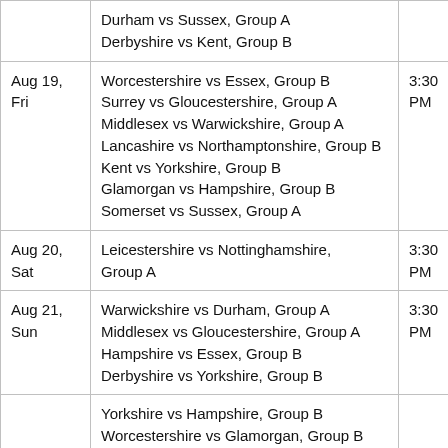| Date | Match | Time |
| --- | --- | --- |
|  | Durham vs Sussex, Group A
Derbyshire vs Kent, Group B |  |
| Aug 19, Fri | Worcestershire vs Essex, Group B
Surrey vs Gloucestershire, Group A
Middlesex vs Warwickshire, Group A
Lancashire vs Northamptonshire, Group B
Kent vs Yorkshire, Group B
Glamorgan vs Hampshire, Group B
Somerset vs Sussex, Group A | 3:30 PM |
| Aug 20, Sat | Leicestershire vs Nottinghamshire, Group A | 3:30 PM |
| Aug 21, Sun | Warwickshire vs Durham, Group A
Middlesex vs Gloucestershire, Group A
Hampshire vs Essex, Group B
Derbyshire vs Yorkshire, Group B | 3:30 PM |
|  | Yorkshire vs Hampshire, Group B
Worcestershire vs Glamorgan, Group B |  |